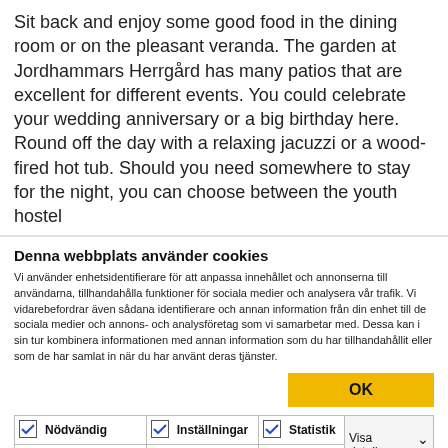Sit back and enjoy some good food in the dining room or on the pleasant veranda. The garden at Jordhammars Herrgård has many patios that are excellent for different events. You could celebrate your wedding anniversary or a big birthday here. Round off the day with a relaxing jacuzzi or a wood-fired hot tub. Should you need somewhere to stay for the night, you can choose between the youth hostel
Denna webbplats använder cookies
Vi använder enhetsidentifierare för att anpassa innehållet och annonserna till användarna, tillhandahålla funktioner för sociala medier och analysera vår trafik. Vi vidarebefordrar även sådana identifierare och annan information från din enhet till de sociala medier och annons- och analysföretag som vi samarbetar med. Dessa kan i sin tur kombinera informationen med annan information som du har tillhandahållit eller som de har samlat in när du har använt deras tjänster.
| Nödvändig | Inställningar | Statistik | Visa detaljer |
| --- | --- | --- | --- |
| ✓ Nödvändig | ✓ Inställningar | ✓ Statistik | Visa detaljer ∨ |
| ✓ Marknadsföring |  |  |  |